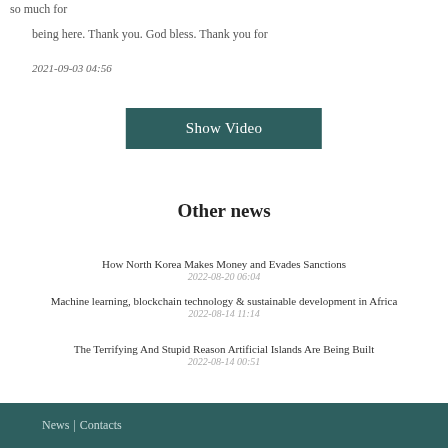so much for
being here. Thank you. God bless. Thank you for
2021-09-03 04:56
[Figure (other): Show Video button — a teal/dark-green rectangular button with white text reading 'Show Video']
Other news
How North Korea Makes Money and Evades Sanctions
2022-08-20 06:04
Machine learning, blockchain technology & sustainable development in Africa
2022-08-14 11:14
The Terrifying And Stupid Reason Artificial Islands Are Being Built
2022-08-14 00:51
News | Contacts